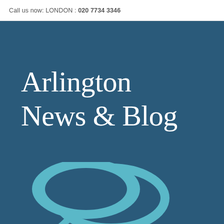Call us now: LONDON : 020 7734 3346
Arlington News & Blog
[Figure (illustration): Two overlapping speech bubble icons in a lighter teal/blue color on the dark blue background, representing a news and blog communication theme.]